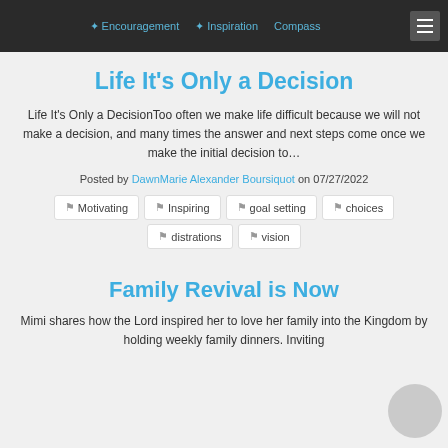Encouragement | Inspiration | Compass
Life It's Only a Decision
Life It's Only a DecisionToo often we make life difficult because we will not make a decision, and many times the answer and next steps come once we make the initial decision to…
Posted by DawnMarie Alexander Boursiquot on 07/27/2022
Motivating
Inspiring
goal setting
choices
distrations
vision
Family Revival is Now
Mimi shares how the Lord inspired her to love her family into the Kingdom by holding weekly family dinners. Inviting